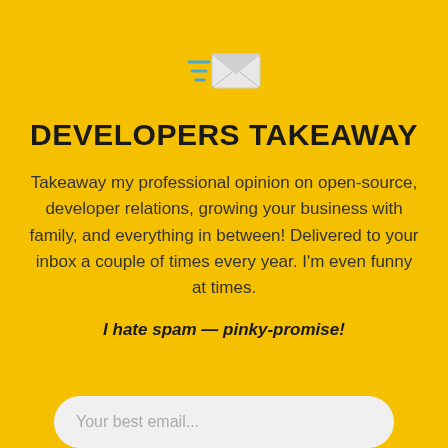[Figure (illustration): Flying envelope icon with blue speed lines on left, gray/white envelope body on yellow background]
DEVELOPERS TAKEAWAY
Takeaway my professional opinion on open-source, developer relations, growing your business with family, and everything in between! Delivered to your inbox a couple of times every year. I'm even funny at times.
I hate spam — pinky-promise!
Your best email...